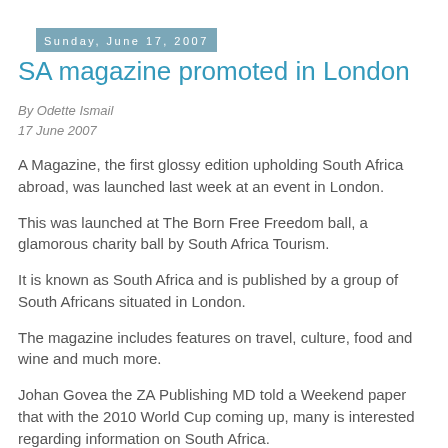Sunday, June 17, 2007
SA magazine promoted in London
By Odette Ismail
17 June 2007
A Magazine, the first glossy edition upholding South Africa abroad, was launched last week at an event in London.
This was launched at The Born Free Freedom ball, a glamorous charity ball by South Africa Tourism.
It is known as South Africa and is published by a group of South Africans situated in London.
The magazine includes features on travel, culture, food and wine and much more.
Johan Govea the ZA Publishing MD told a Weekend paper that with the 2010 World Cup coming up, many is interested regarding information on South Africa.